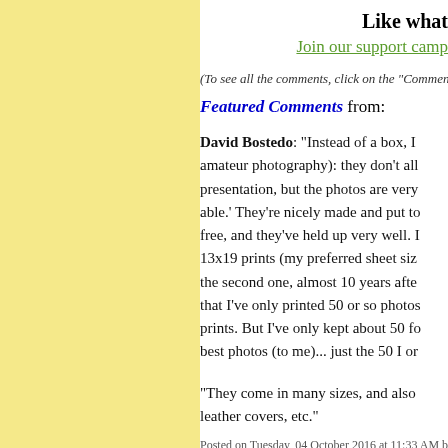Like what
Join our support camp
(To see all the comments, click on the "Comments" link
Featured Comments from:
David Bostedo: "Instead of a box, I amateur photography): they don't all presentation, but the photos are very able.' They're nicely made and put to free, and they've held up very well. I 13x19 prints (my preferred sheet size the second one, almost 10 years afte that I've only printed 50 or so photos prints. But I've only kept about 50 fo best photos (to me)... just the 50 I or
"They come in many sizes, and also leather covers, etc."
Posted on Tuesday, 04 October 2016 at 11:33 AM b